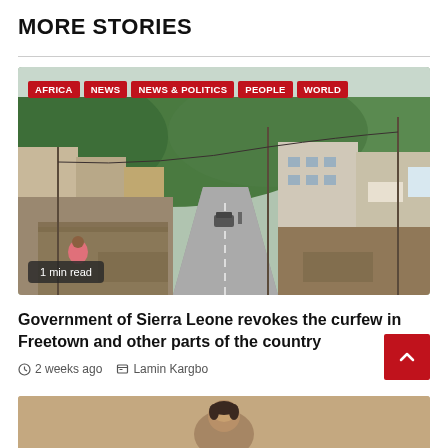MORE STORIES
[Figure (photo): Empty street scene in Freetown, Sierra Leone with buildings on both sides, hills in background, and red category tags overlaid: AFRICA, NEWS, NEWS & POLITICS, PEOPLE, WORLD. A badge reads '1 min read'.]
Government of Sierra Leone revokes the curfew in Freetown and other parts of the country
2 weeks ago   Lamin Kargbo
[Figure (photo): Partial preview of next article image at bottom of page]